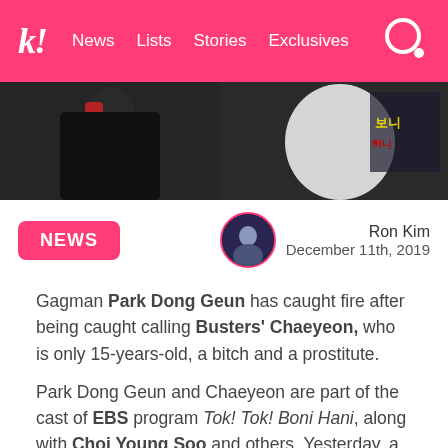k! News Lists Stories Exclusives
[Figure (photo): Photo strip showing people at an event, one wearing red accessories, another in white dress, with Korean text visible on a sign in the background]
NEWS
Ron Kim
December 11th, 2019
Gagman Park Dong Geun has caught fire after being caught calling Busters' Chaeyeon, who is only 15-years-old, a bitch and a prostitute.
Park Dong Geun and Chaeyeon are part of the cast of EBS program Tok! Tok! Boni Hani, along with Choi Young Soo and others. Yesterday, a video clip went viral showing what appeared to be Choi Young Soo violently punching